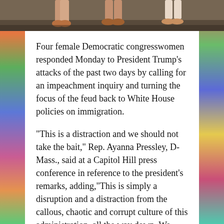[Figure (photo): Cropped photo showing feet and lower legs of multiple women standing on pavement, wearing heeled sandals]
Four female Democratic congresswomen responded Monday to President Trump’s attacks of the past two days by calling for an impeachment inquiry and turning the focus of the feud back to White House policies on immigration.
“This is a distraction and we should not take the bait,” Rep. Ayanna Pressley, D-Mass., said at a Capitol Hill press conference in reference to the president’s remarks, adding,“This is simply a disruption and a distraction from the callous, chaotic and corrupt culture of this administration, all the way down. We want to get back to the business of the American people.”
Pressley was one of four freshmen congresswomen of color who Trump told to go back to their home countries in a tweet posted Sunday. Three of the four